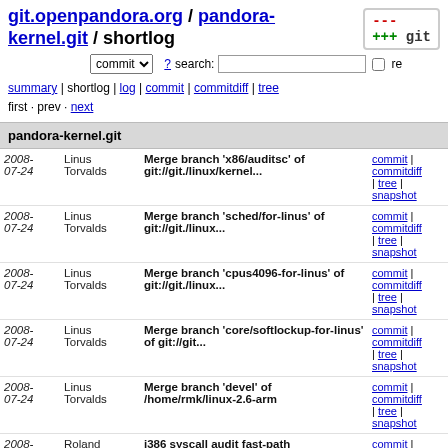git.openpandora.org / pandora-kernel.git / shortlog
commit search: re
summary | shortlog | log | commit | commitdiff | tree
first · prev · next
pandora-kernel.git
| Date | Author | Message | Links |
| --- | --- | --- | --- |
| 2008-07-24 | Linus Torvalds | Merge branch 'x86/auditsc' of git://git./linux/kernel... | commit | commitdiff | tree | snapshot |
| 2008-07-24 | Linus Torvalds | Merge branch 'sched/for-linus' of git://git./linux... | commit | commitdiff | tree | snapshot |
| 2008-07-24 | Linus Torvalds | Merge branch 'cpus4096-for-linus' of git://git./linux... | commit | commitdiff | tree | snapshot |
| 2008-07-24 | Linus Torvalds | Merge branch 'core/softlockup-for-linus' of git://git... | commit | commitdiff | tree | snapshot |
| 2008-07-24 | Linus Torvalds | Merge branch 'devel' of /home/rmk/linux-2.6-arm | commit | commitdiff | tree | snapshot |
| 2008-07-24 | Roland McGrath | i386 syscall audit fast-path | commit | commitdiff | tree | snapshot |
| 2008-07-24 | Roland McGrath | x86_64 ia32 syscall audit fast-path | commit | commitdiff | tree | snapshot |